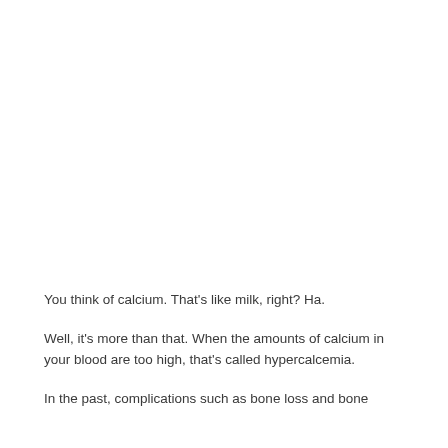You think of calcium. That's like milk, right? Ha.
Well, it's more than that. When the amounts of calcium in your blood are too high, that's called hypercalcemia.
In the past, complications such as bone loss and bone